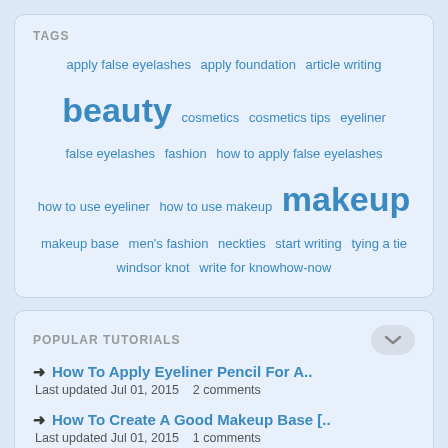TAGS
apply false eyelashes  apply foundation  article writing  beauty  cosmetics  cosmetics tips  eyeliner  false eyelashes  fashion  how to apply false eyelashes  how to use eyeliner  how to use makeup  makeup  makeup base  men's fashion  neckties  start writing  tying a tie  windsor knot  write for knowhow-now
POPULAR TUTORIALS
How To Apply Eyeliner Pencil For A.. Last updated Jul 01, 2015   2 comments
How To Create A Good Makeup Base [.. Last updated Jul 01, 2015   1 comments
How To Apply False Eyelashes [VIDEO] Last updated Jul 01, 2015   0 comments